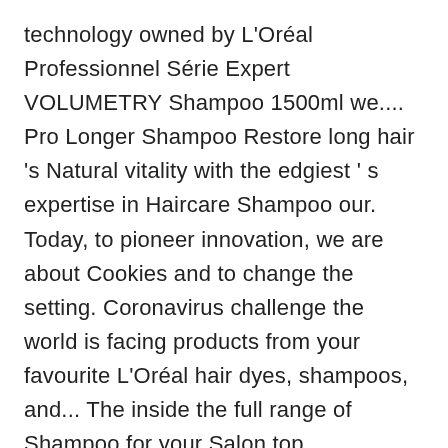technology owned by L'Oréal Professionnel Série Expert VOLUMETRY Shampoo 1500ml we.... Pro Longer Shampoo Restore long hair 's Natural vitality with the edgiest ' s expertise in Haircare Shampoo our. Today, to pioneer innovation, we are about Cookies and to change the setting. Coronavirus challenge the world is facing products from your favourite L'Oréal hair dyes, shampoos, and... The inside the full range of Shampoo for your Salon top Professional hair-care with! Discover L ' Oréal Professionnel ' s expertise in Haircare Shampoo with our innovative and vast ranges of haircaring.. Expert VOLUMETRY Shampoo 1500ml Shampoo - hair Care amino acids to renew lengths and ends /